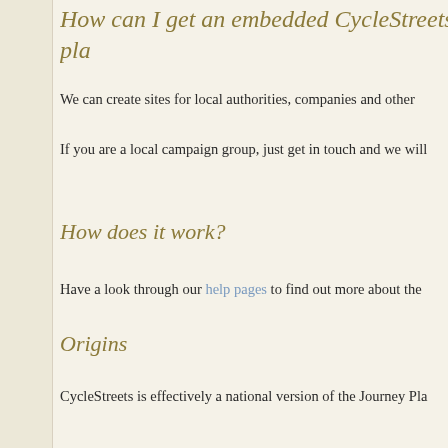How can I get an embedded CycleStreets pla…
We can create sites for local authorities, companies and other…
If you are a local campaign group, just get in touch and we will…
How does it work?
Have a look through our help pages to find out more about the…
Origins
CycleStreets is effectively a national version of the Journey Pla…
Following a presentation of the Cambridge-only system at the enquiries from people and organisations around the UK (and b… worked to produce a national system, which also has versions…
Legal
CycleStreets is a run as a social enterprise company (not-for-p…
CycleStreets is from CycleStreets Ltd, a not-for-profit limited U…